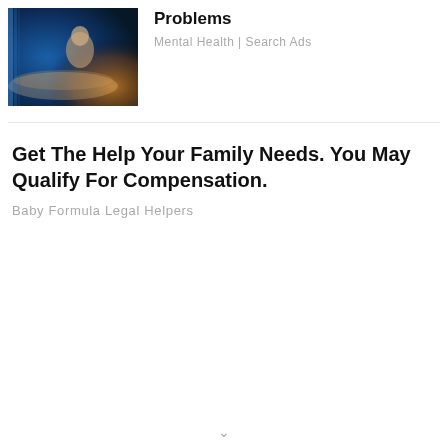[Figure (photo): A photo showing a person sitting on a bed in a dimly lit room with blue and warm orange lighting, suggesting a sleep or mental health context.]
Problems
Mental Health | Search Ads
Get The Help Your Family Needs. You May Qualify For Compensation.
Baby Formula Legal Helpers